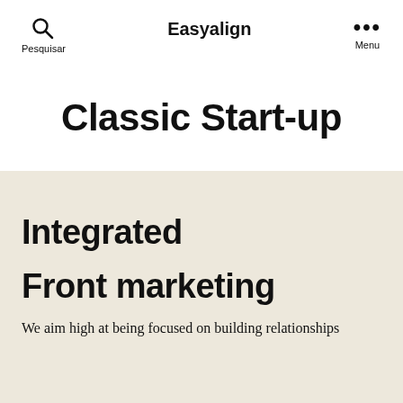Easyalign
Classic Start-up
Integrated
Front marketing
We aim high at being focused on building relationships